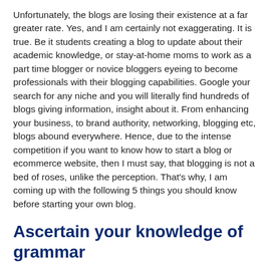Unfortunately, the blogs are losing their existence at a far greater rate. Yes, and I am certainly not exaggerating. It is true. Be it students creating a blog to update about their academic knowledge, or stay-at-home moms to work as a part time blogger or novice bloggers eyeing to become professionals with their blogging capabilities. Google your search for any niche and you will literally find hundreds of blogs giving information, insight about it. From enhancing your business, to brand authority, networking, blogging etc, blogs abound everywhere. Hence, due to the intense competition if you want to know how to start a blog or ecommerce website, then I must say, that blogging is not a bed of roses, unlike the perception. That's why, I am coming up with the following 5 things you should know before starting your own blog.
Ascertain your knowledge of grammar
English being a universally accepted language thus generate an obvious popularity extending to masses in just a click. Grammar is important with respect to...